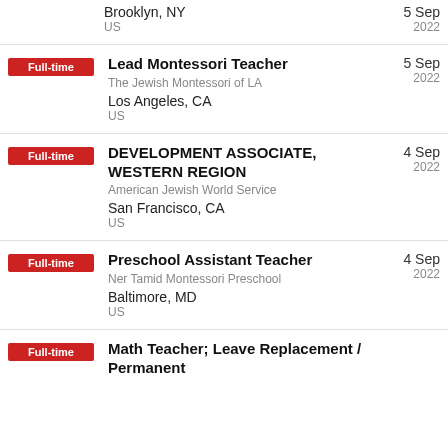Brooklyn, NY | US | 5 Sep 2022
Full-time | Lead Montessori Teacher | The Jewish Montessori of LA | Los Angeles, CA | US | 5 Sep 2022
Full-time | DEVELOPMENT ASSOCIATE, WESTERN REGION | American Jewish World Service | San Francisco, CA | US | 4 Sep 2022
Full-time | Preschool Assistant Teacher | Ner Tamid Montessori Preschool | Baltimore, MD | US | 4 Sep 2022
Full-time | Math Teacher; Leave Replacement / Permanent